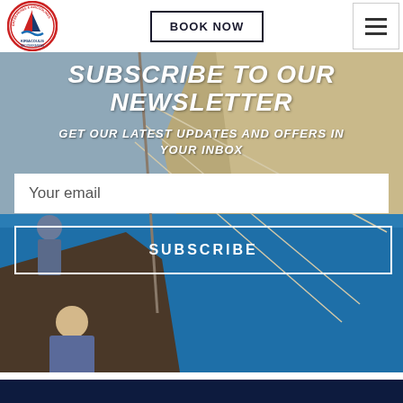[Figure (logo): Kiriacoulis Mediterranean logo - circular badge with sailing boat and red sail]
BOOK NOW
[Figure (illustration): Hamburger menu icon (three horizontal lines)]
[Figure (photo): Background photo of a sailing boat on turquoise Mediterranean sea with rocky cliff, crew members sitting on deck]
SUBSCRIBE TO OUR NEWSLETTER
GET OUR LATEST UPDATES AND OFFERS IN YOUR INBOX
Your email
SUBSCRIBE